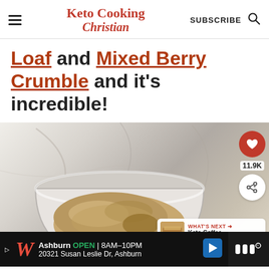Keto Cooking Christian | SUBSCRIBE
Loaf and Mixed Berry Crumble and it's incredible!
[Figure (photo): A glass bowl containing almond flour and other keto crumble ingredients on a marble surface. Sidebar shows a heart/save button with 11.9K saves and a share button. A 'What's Next' overlay shows Keto Coffee Crumb Cake.]
Ashburn OPEN | 8AM-10PM  20321 Susan Leslie Dr, Ashburn